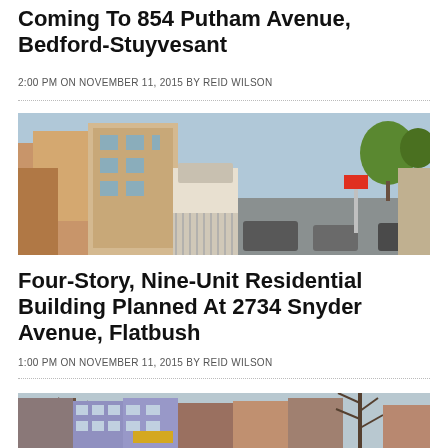Coming To 854 Putham Avenue, Bedford-Stuyvesant
2:00 PM ON NOVEMBER 11, 2015 BY REID WILSON
[Figure (photo): Aerial street view photo of 854 Putnam Avenue, Bedford-Stuyvesant showing residential buildings and a parking area]
Four-Story, Nine-Unit Residential Building Planned At 2734 Snyder Avenue, Flatbush
1:00 PM ON NOVEMBER 11, 2015 BY REID WILSON
[Figure (photo): Street-level photo of 2734 Snyder Avenue, Flatbush showing multi-story brick residential buildings]